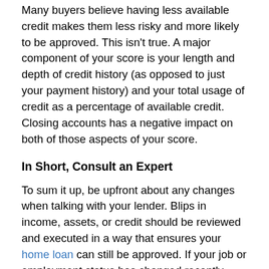Many buyers believe having less available credit makes them less risky and more likely to be approved. This isn't true. A major component of your score is your length and depth of credit history (as opposed to just your payment history) and your total usage of credit as a percentage of available credit. Closing accounts has a negative impact on both of those aspects of your score.
In Short, Consult an Expert
To sum it up, be upfront about any changes when talking with your lender. Blips in income, assets, or credit should be reviewed and executed in a way that ensures your home loan can still be approved. If your job or employment status has changed recently, share that with your lender as well. Ultimately, it's best to fully disclose and discuss your intentions with your loan officer before you do anything financial in nature.
Bottom Line